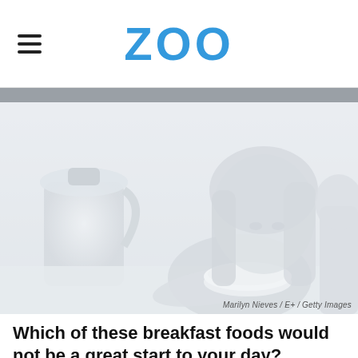ZOO
[Figure (photo): Black and white / desaturated photo of a young blonde girl looking down at a bowl on a table, with a milk jug visible on the left and another person partially visible on the right. The overall tone is very light and washed out.]
Marilyn Nieves / E+ / Getty Images
Which of these breakfast foods would not be a great start to your day?